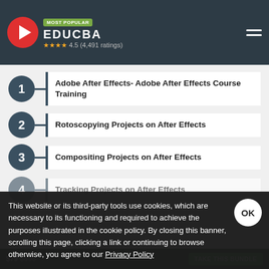MOST POPULAR | EDUCBA | ★★★★ 4.5 (4,491 ratings)
1 – Adobe After Effects- Adobe After Effects Course Training
2 – Rotoscopying Projects on After Effects
3 – Compositing Projects on After Effects
4 – Tracking Projects on After Effects
5 – (partially visible)
This website or its third-party tools use cookies, which are necessary to its functioning and required to achieve the purposes illustrated in the cookie policy. By closing this banner, scrolling this page, clicking a link or continuing to browse otherwise, you agree to our Privacy Policy
$79 $595 | TAKE THIS BUNDLE